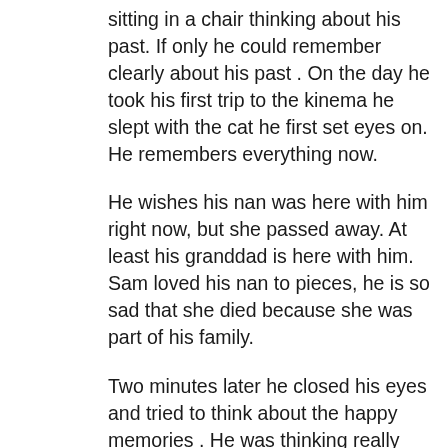sitting in a chair thinking about his past. If only he could remember clearly about his past . On the day he took his first trip to the kinema he slept with the cat he first set eyes on. He remembers everything now.
He wishes his nan was here with him right now, but she passed away. At least his granddad is here with him. Sam loved his nan to pieces, he is so sad that she died because she was part of his family.
Two minutes later he closed his eyes and tried to think about the happy memories . He was thinking really hard until he started to remember the amazing day he had on his forth Christmas that hed spent with lots of friends. He kept on thinking and thinking, 10 secs later his memories came back to him.